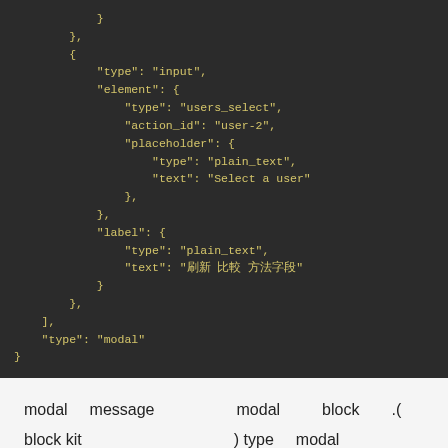[Figure (screenshot): Dark-themed code editor showing JSON snippet with type input, element with type users_select, action_id user-2, placeholder with type plain_text and text Select a user, label with type plain_text and text in non-Latin characters, closing brackets, and type modal at the end.]
modal message modal block .( block kit ) type modal views_open